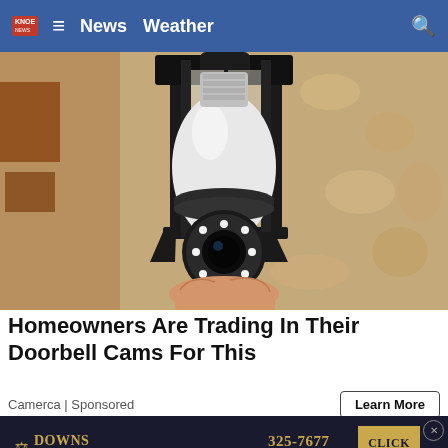KNOE News | News | Weather
[Figure (photo): A light bulb security camera being installed into a black outdoor lantern-style light fixture mounted on a textured stucco wall. A hand is visible holding the bulb-shaped camera which has LED lights around its lens.]
Homeowners Are Trading In Their Doorbell Cams For This
Camerca | Sponsored
[Figure (other): Downs Law Firm advertisement banner. Phone: 325-7677, 4214 Sterlington Road, Monroe, LA 71203. Car Wrecks and Serious Injuries. Click Here button.]